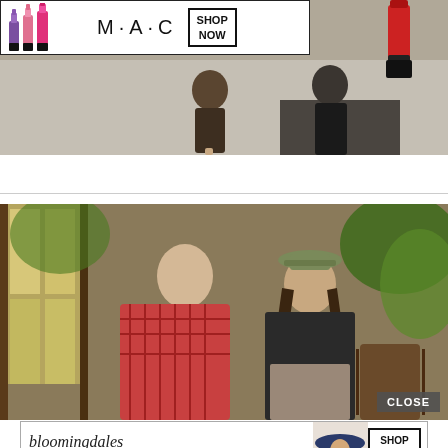[Figure (photo): MAC Cosmetics advertisement banner with colorful lipsticks and 'SHOP NOW' button, overlaid on a photo of two people sitting on a ledge outdoors]
[Figure (photo): Photo of a man in a red plaid shirt and a woman wearing a cap, sitting together in a rustic indoor/outdoor setting with plants, with a 'CLOSE' button overlay]
[Figure (photo): Bloomingdales advertisement banner with logo, 'View Today's Top Deals!' text, a woman in a hat, and 'SHOP NOW >' button]